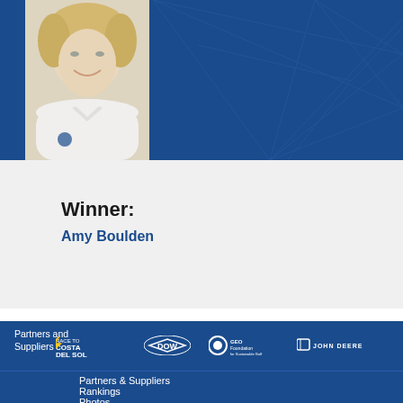[Figure (photo): Professional female golfer with blonde hair in white polo shirt, smiling, photographed against dark blue geometric background]
Winner:
Amy Boulden
Partners and Suppliers
[Figure (logo): Race to Costa Del Sol logo]
[Figure (logo): Dow logo]
[Figure (logo): GEO Foundation for Sustainable Golf logo]
[Figure (logo): John Deere logo]
Partners & Suppliers
Rankings
Photos